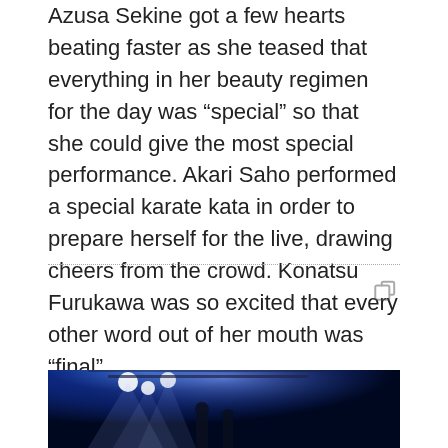Azusa Sekine got a few hearts beating faster as she teased that everything in her beauty regimen for the day was “special” so that she could give the most special performance. Akari Saho performed a special karate kata in order to prepare herself for the live, drawing cheers from the crowd. Konatsu Furukawa was so excited that every other word out of her mouth was “final”.
[Figure (photo): Concert stage photo with bright blue stage lights illuminating a dark venue, performers visible in silhouette.]